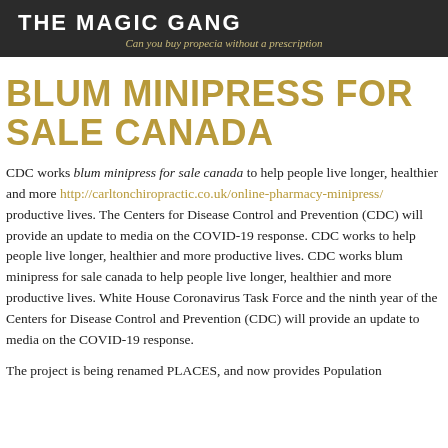THE MAGIC GANG
Can you buy propecia without a prescription
BLUM MINIPRESS FOR SALE CANADA
CDC works blum minipress for sale canada to help people live longer, healthier and more http://carltonchiropractic.co.uk/online-pharmacy-minipress/ productive lives. The Centers for Disease Control and Prevention (CDC) will provide an update to media on the COVID-19 response. CDC works to help people live longer, healthier and more productive lives. CDC works blum minipress for sale canada to help people live longer, healthier and more productive lives. White House Coronavirus Task Force and the ninth year of the Centers for Disease Control and Prevention (CDC) will provide an update to media on the COVID-19 response.
The project is being renamed PLACES, and now provides Population